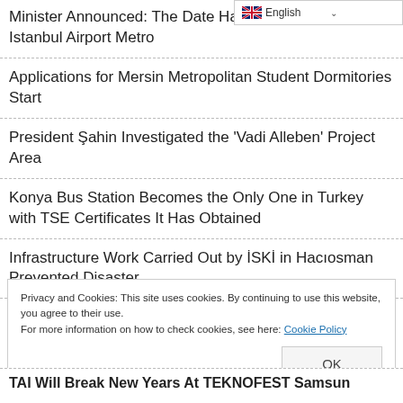[Figure (other): English language selector dropdown button in top-right corner with flag icon]
Minister Announced: The Date Has Been Determined for Istanbul Airport Metro
Applications for Mersin Metropolitan Student Dormitories Start
President Şahin Investigated the 'Vadi Alleben' Project Area
Konya Bus Station Becomes the Only One in Turkey with TSE Certificates It Has Obtained
Infrastructure Work Carried Out by İSKİ in Hacıosman Prevented Disaster
Additional Expeditions Will Be Made Tomorrow on Geyikli Bozcaada Ferry Line
Privacy and Cookies: This site uses cookies. By continuing to use this website, you agree to their use. For more information on how to check cookies, see here: Cookie Policy
TAI Will Break New Years At TEKNOFEST Samsun